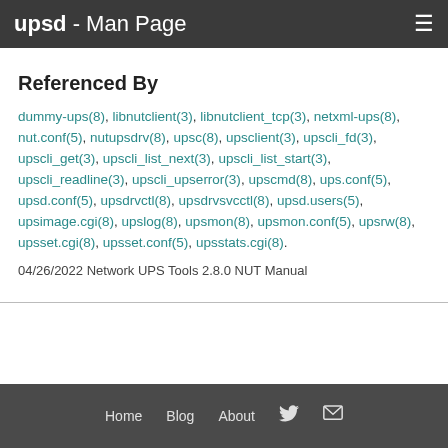upsd - Man Page
Referenced By
dummy-ups(8), libnutclient(3), libnutclient_tcp(3), netxml-ups(8), nut.conf(5), nutupsdrv(8), upsc(8), upsclient(3), upscli_fd(3), upscli_get(3), upscli_list_next(3), upscli_list_start(3), upscli_readline(3), upscli_upserror(3), upscmd(8), ups.conf(5), upsd.conf(5), upsdrvctl(8), upsdrvsvcctl(8), upsd.users(5), upsimage.cgi(8), upslog(8), upsmon(8), upsmon.conf(5), upsrw(8), upsset.cgi(8), upsset.conf(5), upsstats.cgi(8).
04/26/2022 Network UPS Tools 2.8.0 NUT Manual
Home  Blog  About